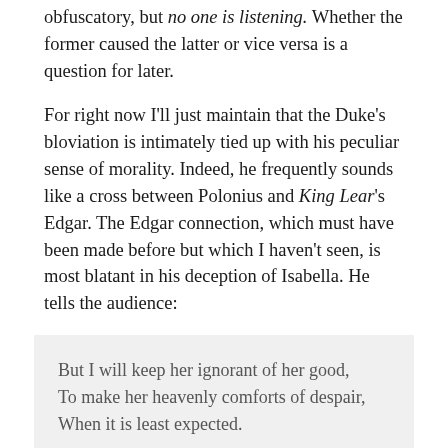obfuscatory, but no one is listening. Whether the former caused the latter or vice versa is a question for later.
For right now I'll just maintain that the Duke's bloviation is intimately tied up with his peculiar sense of morality. Indeed, he frequently sounds like a cross between Polonius and King Lear's Edgar. The Edgar connection, which must have been made before but which I haven't seen, is most blatant in his deception of Isabella. He tells the audience:
But I will keep her ignorant of her good,
To make her heavenly comforts of despair,
When it is least expected.

IV.iii